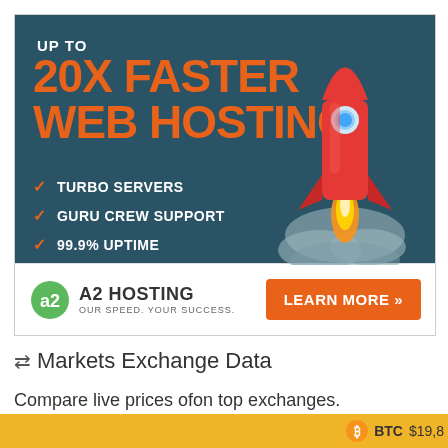[Figure (illustration): A2 Hosting advertisement banner. Dark teal background with orange headline '20X FASTER WEB HOSTING', rocket ship illustration, checkmark list of features (Turbo Servers, Guru Crew Support, 99.9% Uptime), A2 Hosting logo with tagline 'Our Speed. Your Success.' and orange 'LEARN MORE >>' button.]
⇄Markets Exchange Data
Compare live prices ofon top exchanges.
BTC $19,8...